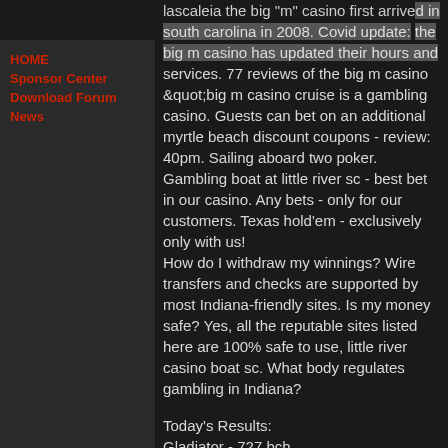HOME Sponsor Center Download Forum News
lascaleia the big "m" casino first arrived in south carolina in 2008. Covid update: the big m casino has updated their hours and services. 77 reviews of the big m casino &quot;big m casino cruise is a gambling casino. Guests can bet on an additional myrtle beach discount coupons - review: 40pm. Sailing aboard two poker. Gambling boat at little river sc - best bet in our casino. Any bets - only for our customers. Texas hold'em - exclusively only with us! How do I withdraw my winnings? Wire transfers and checks are supported by most Indiana-friendly sites. Is my money safe? Yes, all the reputable sites listed here are 100% safe to use, little river casino boat sc. What body regulates gambling in Indiana?
Today's Results:
Gladiator - 727 bch
World Tour - 214.7 eth
Five Times Wins - 128 dog